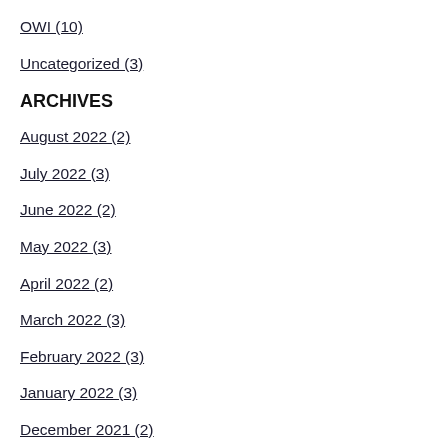OWI (10)
Uncategorized (3)
ARCHIVES
August 2022 (2)
July 2022 (3)
June 2022 (2)
May 2022 (3)
April 2022 (2)
March 2022 (3)
February 2022 (3)
January 2022 (3)
December 2021 (2)
November 2021 (3)
October 2021 (3)